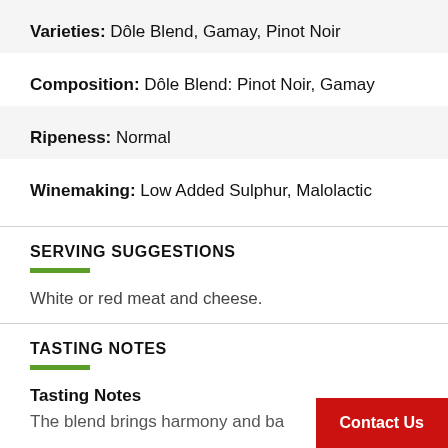Varieties: Dôle Blend, Gamay, Pinot Noir
Composition: Dôle Blend: Pinot Noir, Gamay
Ripeness: Normal
Winemaking: Low Added Sulphur, Malolactic
SERVING SUGGESTIONS
White or red meat and cheese.
TASTING NOTES
Tasting Notes
The blend brings harmony and ba